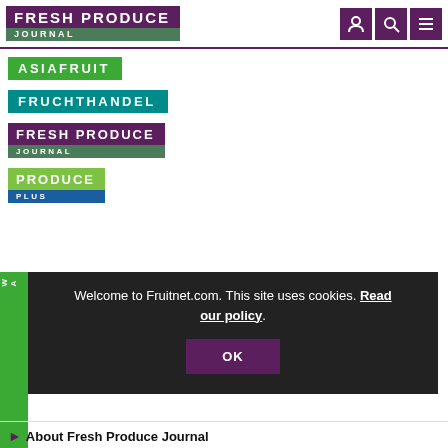FRESH PRODUCE JOURNAL
[Figure (logo): Asiafruit logo - green background with white bold text]
[Figure (logo): Fruchthandel logo - teal background with white bold text]
[Figure (logo): Fresh Produce Journal logo - purple and green blocks with white text]
[Figure (logo): Produce Plus logo - lime green and blue blocks with white text]
Welcome to Fruitnet.com. This site uses cookies. Read our policy.
OK
About Fresh Produce Journal